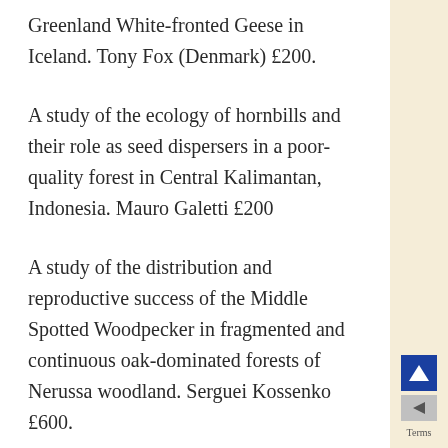Greenland White-fronted Geese in Iceland. Tony Fox (Denmark) £200.
A study of the ecology of hornbills and their role as seed dispersers in a poor-quality forest in Central Kalimantan, Indonesia. Mauro Galetti £200
A study of the distribution and reproductive success of the Middle Spotted Woodpecker in fragmented and continuous oak-dominated forests of Nerussa woodland. Serguei Kossenko £600.
A study of the Sichuan Hill-partridge within its home range in Sichuan province, but...